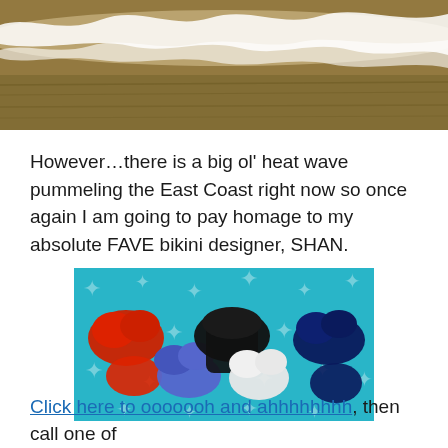[Figure (photo): Beach scene showing waves with white foam and sandy/murky water, viewed from above, cropped at top of page]
However…there is a big ol' heat wave pummeling the East Coast right now so once again I am going to pay homage to my absolute FAVE bikini designer, SHAN.
[Figure (photo): Multiple bikini sets laid out on a teal starfish-patterned beach towel: red bikini, black one-piece/bikini, blue bikini, white bikini, navy bikini]
Click here  to ooooooh and ahhhhhhhh, then call one of